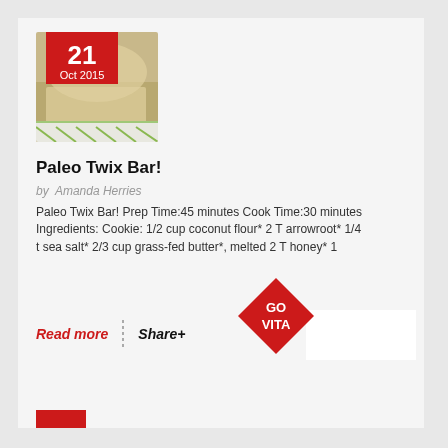[Figure (photo): Food photo of a paleo bar/cake slice with a red date badge showing 21 Oct 2015]
Paleo Twix Bar!
by  Amanda Herries
Paleo Twix Bar! Prep Time:45 minutes Cook Time:30 minutes Ingredients: Cookie: 1/2 cup coconut flour* 2 T arrowroot* 1/4 t sea salt* 2/3 cup grass-fed butter*, melted 2 T honey* 1
Read more
Share+
[Figure (logo): GO VITA red diamond logo]